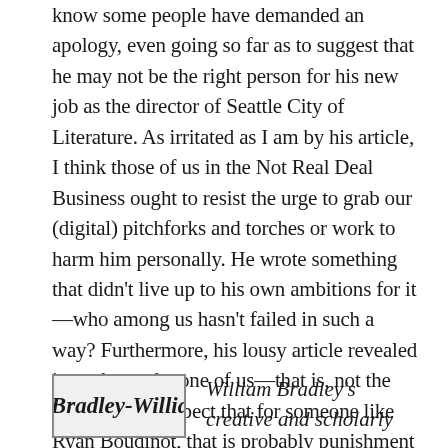know some people have demanded an apology, even going so far as to suggest that he may not be the right person for his new job as the director of Seattle City of Literature. As irritated as I am by his article, I think those of us in the Not Real Deal Business ought to resist the urge to grab our (digital) pitchforks and torches or work to harm him personally. He wrote something that didn't live up to his own ambitions for it—who among us hasn't failed in such a way? Furthermore, his lousy article revealed its author to be one of us—that is, not the Real Deal. I suspect that for someone like Ryan Boudinot, that is probably punishment enough.
[Figure (photo): Small author photo thumbnail of Bradley-William]
William Bradley's creative and scholarly